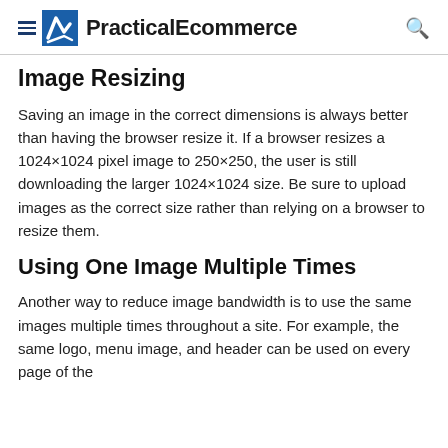PracticalEcommerce
Image Resizing
Saving an image in the correct dimensions is always better than having the browser resize it. If a browser resizes a 1024×1024 pixel image to 250×250, the user is still downloading the larger 1024×1024 size. Be sure to upload images as the correct size rather than relying on a browser to resize them.
Using One Image Multiple Times
Another way to reduce image bandwidth is to use the same images multiple times throughout a site. For example, the same logo, menu image, and header can be used on every page of the